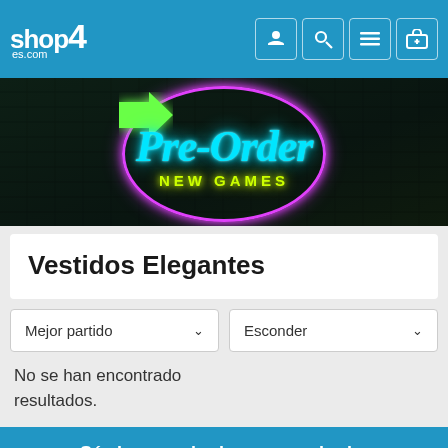shop4 es.com
[Figure (photo): Neon sign banner reading 'Pre-Order NEW GAMES' with cyan neon cursive text, yellow-green 'NEW GAMES' text, green arrow, and magenta neon circle, on dark brick background]
Vestidos Elegantes
Mejor partido
Esconder
No se han encontrado resultados.
Sé siempre el primero en saberlo.
Regístrese en nuestro boletín de correo electrónico para obtener